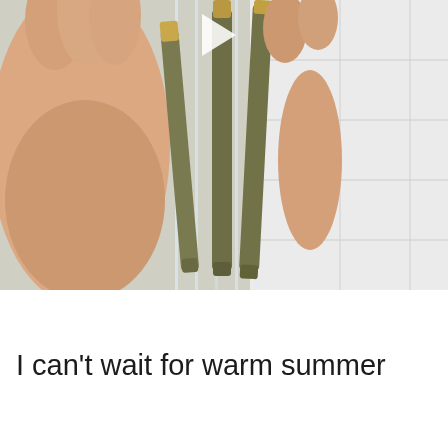[Figure (photo): A hand holding several pre-rolled joints/cigarettes in a clear plastic tube or container, against a white tile wall background. A video play button triangle is visible at the top center of the image.]
I can’t wait for warm summer